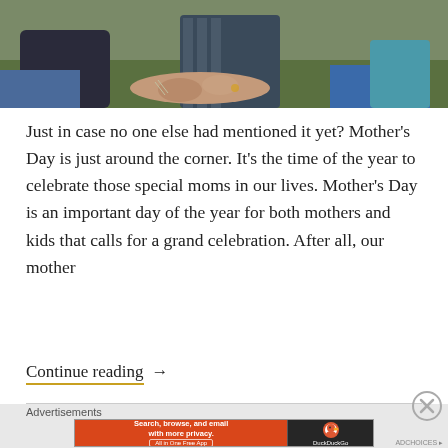[Figure (photo): A photo showing people sitting on grass outdoors, with hands visible in the center, suggesting a family or group scene]
Just in case no one else had mentioned it yet? Mother's Day is just around the corner. It's the time of the year to celebrate those special moms in our lives. Mother's Day is an important day of the year for both mothers and kids that calls for a grand celebration. After all, our mother
Continue reading →
[Figure (screenshot): DuckDuckGo advertisement banner: 'Search, browse, and email with more privacy. All in One Free App' with DuckDuckGo logo on right side]